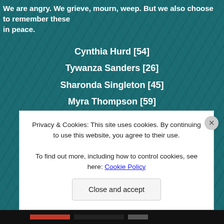We are angry. We grieve, mourn, weep. But we also choose to remember these in peace.
Cynthia Hurd [54]
Tywanza Sanders [26]
Sharonda Singleton [45]
Myra Thompson [59]
Ethel Lance [70]
Susie Jackson [87]
DePayne Doctor [49]
Rev. Daniel Simmons Sr [74]
Rev. Clementa Pinckney [41]
Privacy & Cookies: This site uses cookies. By continuing to use this website, you agree to their use. To find out more, including how to control cookies, see here: Cookie Policy
Close and accept